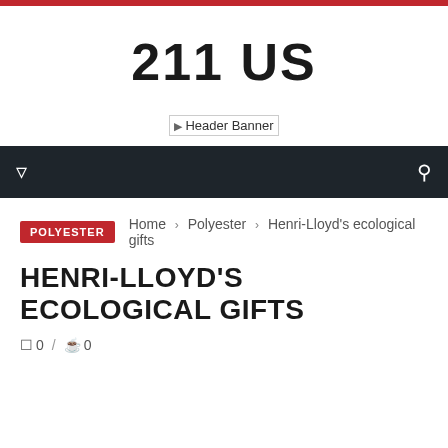211 US
[Figure (other): Header Banner placeholder image]
Home › Polyester › Henri-Lloyd's ecological gifts
HENRI-LLOYD'S ECOLOGICAL GIFTS
0 / 0